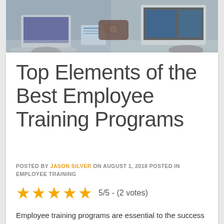[Figure (photo): People working at laptops and desks, business/office scene, hero banner image]
Top Elements of the Best Employee Training Programs
POSTED BY JASON SILVER ON AUGUST 1, 2018 POSTED IN EMPLOYEE TRAINING
5/5 - (2 votes)
Employee training programs are essential to the success of your business. They are like ground zero of building your business. The right programs will help your employees get started with the right skills and the right vision. The